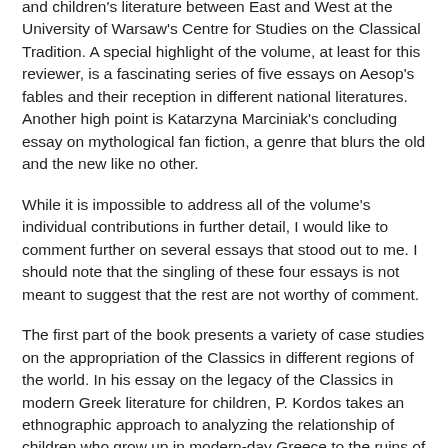and children's literature between East and West at the University of Warsaw's Centre for Studies on the Classical Tradition. A special highlight of the volume, at least for this reviewer, is a fascinating series of five essays on Aesop's fables and their reception in different national literatures. Another high point is Katarzyna Marciniak's concluding essay on mythological fan fiction, a genre that blurs the old and the new like no other.
While it is impossible to address all of the volume's individual contributions in further detail, I would like to comment further on several essays that stood out to me. I should note that the singling of these four essays is not meant to suggest that the rest are not worthy of comment.
The first part of the book presents a variety of case studies on the appropriation of the Classics in different regions of the world. In his essay on the legacy of the Classics in modern Greek literature for children, P. Kordos takes an ethnographic approach to analyzing the relationship of children who grow up in modern-day Greece to the ruins of Ancient Greece amidst which they literally live, about which they learn increasingly more at each level in their schooling